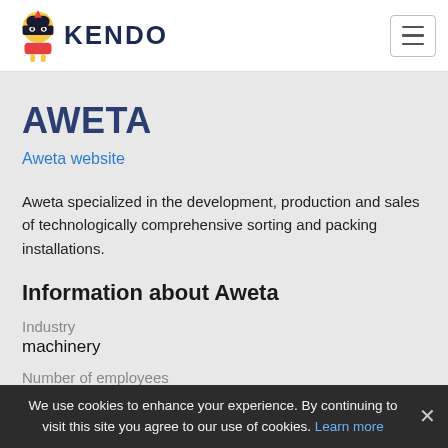KENDO
AWETA
Aweta website
Aweta specialized in the development, production and sales of technologically comprehensive sorting and packing installations.
Information about Aweta
Industry
machinery
Number of employees
51-200
We use cookies to enhance your experience. By continuing to visit this site you agree to our use of cookies. Learn more